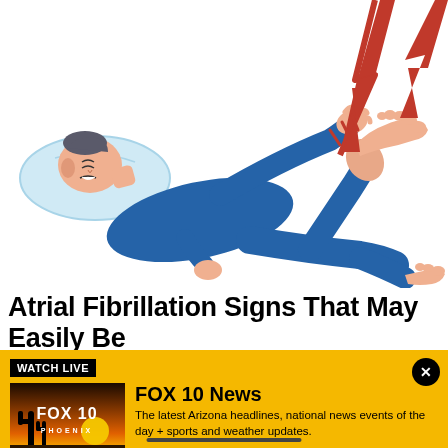[Figure (illustration): Medical illustration of a person lying down in blue pajamas/clothing on a pillow, experiencing pain/electric shock sensation in the leg/foot area, depicted with red lightning bolt symbols indicating pain]
Atrial Fibrillation Signs That May Easily Be
[Figure (screenshot): FOX 10 News Watch Live banner advertisement with yellow/gold background. Shows 'WATCH LIVE' badge, FOX 10 Phoenix thumbnail image with sunset/cactus silhouette, and text 'FOX 10 News - The latest Arizona headlines, national news events of the day + sports and weather updates.' with close button.]